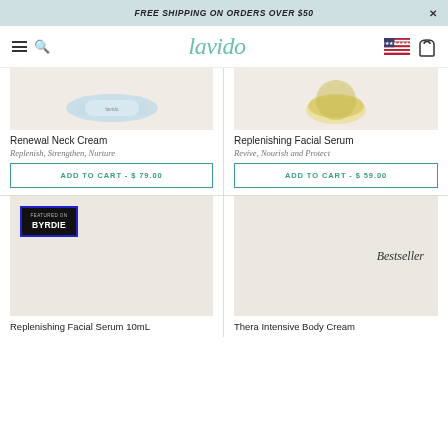FREE SHIPPING ON ORDERS OVER $50
[Figure (logo): Lavido brand logo with navigation bar including hamburger menu, search, US flag, and cart icon]
[Figure (photo): Renewal Neck Cream product image on beige background]
Renewal Neck Cream
Replenish, Strengthen, Nurture
ADD TO CART - $ 79.00
[Figure (photo): Replenishing Facial Serum product image on beige background]
Replenishing Facial Serum
Revive, Nourish and Protect
ADD TO CART - $ 59.00
[Figure (photo): Replenishing Facial Serum 10mL product image with Featured on Byrdie badge]
Replenishing Facial Serum 10mL
[Figure (photo): Thera Intensive Body Cream product image with Bestseller label]
Thera Intensive Body Cream